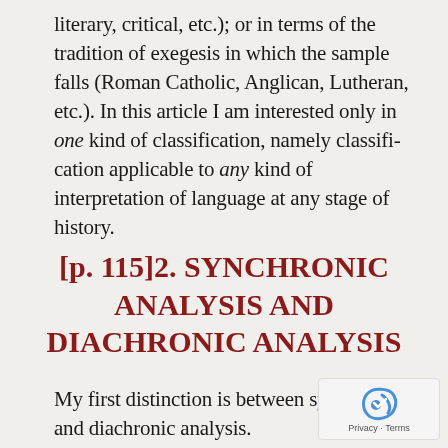literary, critical, etc.); or in terms of the tradition of exegesis in which the sample falls (Roman Catholic, Anglican, Lutheran, etc.). In this article I am interested only in one kind of classification, namely classifi- cation applicable to any kind of interpretation of language at any stage of history.
[p. 115]2. SYNCHRONIC ANALYSIS AND DIACHRONIC ANALYSIS
My first distinction is between synchronic and diachronic analysis.